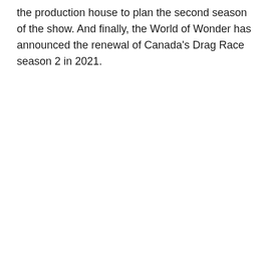the production house to plan the second season of the show. And finally, the World of Wonder has announced the renewal of Canada's Drag Race season 2 in 2021.